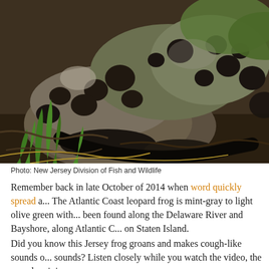[Figure (photo): Close-up photograph of an Atlantic Coast leopard frog (dark brownish-gray with black spots) resting among dead leaves, grass blades, and soil. Photo credit: New Jersey Division of Fish and Wildlife.]
Photo: New Jersey Division of Fish and Wildlife
Remember back in late October of 2014 when word quickly spread a... The Atlantic Coast leopard frog is mint-gray to light olive green with... been found along the Delaware River and Bayshore, along Atlantic C... on Staten Island.
Did you know this Jersey frog groans and makes cough-like sounds o... sounds? Listen closely while you watch the video, the sounds origin...